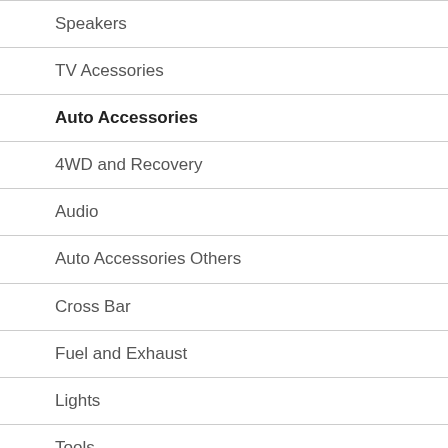| Speakers |
| TV Acessories |
| Auto Accessories |
| 4WD and Recovery |
| Audio |
| Auto Accessories Others |
| Cross Bar |
| Fuel and Exhaust |
| Lights |
| Tools |
| Winches |
| Baby and Kids |